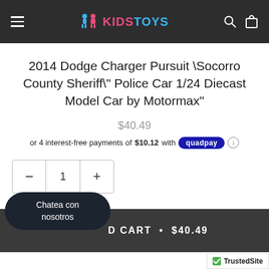KIDS TOYS - navigation header
2014 Dodge Charger Pursuit \Socorro County Sheriff\" Police Car 1/24 Diecast Model Car by Motormax"
$40.49
or 4 interest-free payments of $10.12 with quadpay
quantity: 1
Chatea con nosotros
D CART • $40.49
TrustedSite